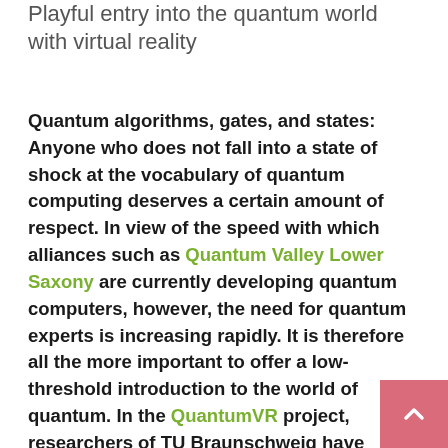Playful entry into the quantum world with virtual reality
Quantum algorithms, gates, and states: Anyone who does not fall into a state of shock at the vocabulary of quantum computing deserves a certain amount of respect. In view of the speed with which alliances such as Quantum Valley Lower Saxony are currently developing quantum computers, however, the need for quantum experts is increasing rapidly. It is therefore all the more important to offer a low-threshold introduction to the world of quantum. In the QuantumVR project, researchers of TU Braunschweig have developed an escape game in which quantum gates can literally be touched thanks to virtual reality.